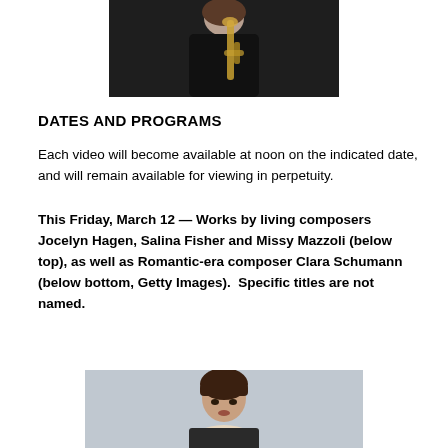[Figure (photo): Person holding a brass instrument, dark clothing, cropped upper body photo]
DATES AND PROGRAMS
Each video will become available at noon on the indicated date, and will remain available for viewing in perpetuity.
This Friday, March 12 — Works by living composers Jocelyn Hagen, Salina Fisher and Missy Mazzoli (below top), as well as Romantic-era composer Clara Schumann (below bottom, Getty Images).  Specific titles are not named.
[Figure (photo): Portrait of a woman with bangs and dark hair, light background]